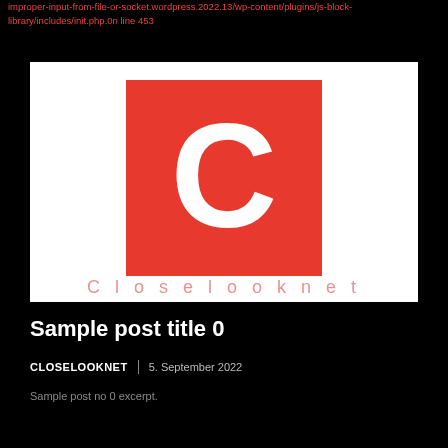improper-input-from-file-or-socket.wordpress.2022.13/wp-content/plugins/js-block-library/includes/init.php.0n line 453
[Figure (logo): CloseLookNet logo: red square with white letter C, with 'Closelooknet' text below in pink/red]
Sample post title 0
CLOSELOOKNET | 5. September 2022
Sample post no 0 excerpt.